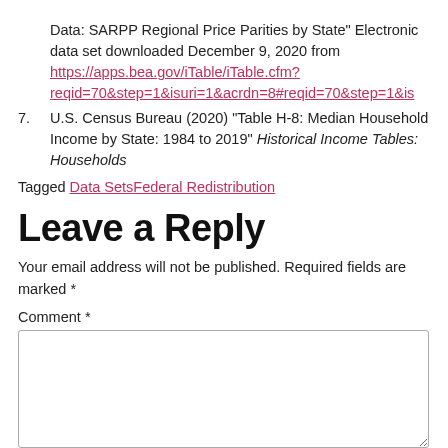Data: SARPP Regional Price Parities by State" Electronic data set downloaded December 9, 2020 from https://apps.bea.gov/iTable/iTable.cfm?reqid=70&step=1&isuri=1&acrdn=8#reqid=70&step=1&is
7. U.S. Census Bureau (2020) “Table H-8: Median Household Income by State: 1984 to 2019” Historical Income Tables: Households
Tagged Data SetsFederal Redistribution
Leave a Reply
Your email address will not be published. Required fields are marked *
Comment *